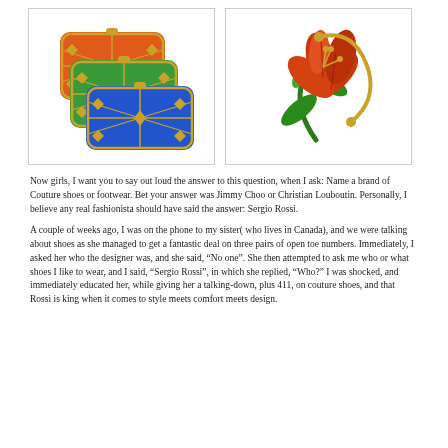[Figure (photo): Three overlapping rectangular clutch purses in orange, green, and blue with gold lattice design]
[Figure (photo): Decorative flower brooch or accessory shaped like a red lily with green leaves and gold stem]
Now girls, I want you to say out loud the answer to this question, when I ask: Name a brand of Couture shoes or footwear. Bet your answer was Jimmy Choo or Christian Louboutin. Personally, I believe any real fashionista should have said the answer: Sergio Rossi.
A couple of weeks ago, I was on the phone to my sister( who lives in Canada), and we were talking about shoes as she managed to get a fantastic deal on three pairs of open toe numbers. Immediately, I asked her who the designer was, and she said, “No one”. She then attempted to ask me who or what shoes I like to wear, and I said, “Sergio Rossi”, in which she replied, “Who?” I was shocked, and immediately educated her, while giving her a talking-down, plus 411, on couture shoes, and that Rossi is king when it comes to style meets comfort meets design.